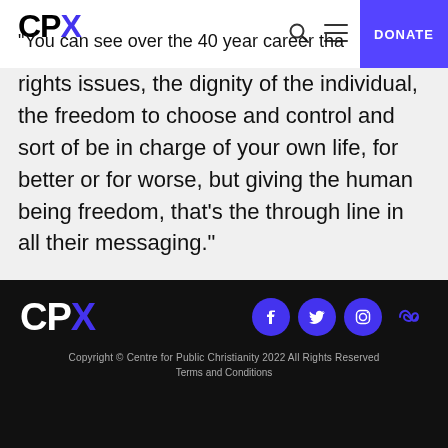CPX — navigation bar with logo, search, menu, and DONATE button
means of processing life's pain.
"You can see over the 40 year career tha… rights issues, the dignity of the individual, the freedom to choose and control and sort of be in charge of your own life, for better or for worse, but giving the human being freedom, that's the through line in all their messaging."
CPX logo, Facebook, Twitter, Instagram, Threads social icons. Copyright © Centre for Public Christianity 2022 All Rights Reserved. Terms and Conditions.